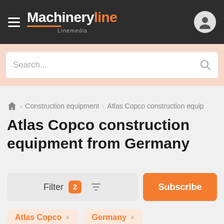[Figure (logo): Machineryline Linemedia logo with hamburger menu on dark header bar, and user profile icon on the right]
Search...
Construction equipment › Atlas Copco construction equip
Atlas Copco construction equipment from Germany
Filter 2 ▼ Subscribe
Atlas Copco ×  Germany ×
Atlas Copco construction equipment from